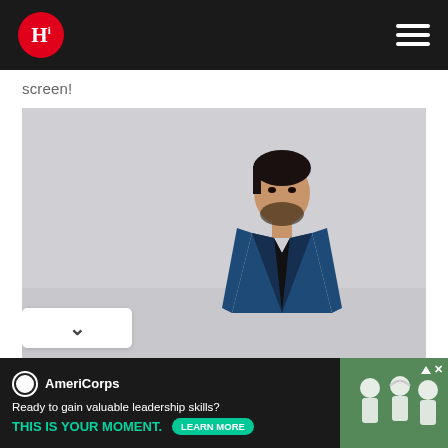Hi logo and hamburger menu
screen!
[Figure (photo): A young man with dark hair and beard wearing a navy blue blazer over a black shirt, posed against a light grey background, looking at camera]
[Figure (infographic): AmeriCorps advertisement banner: 'Ready to gain valuable leadership skills? THIS IS YOUR MOMENT.' with LEARN MORE button and photo of people on right]